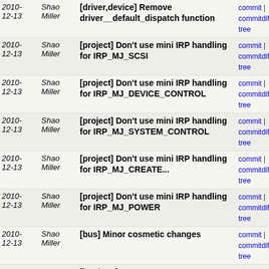| Date | Author | Message | Links |
| --- | --- | --- | --- |
| 2010-12-13 | Shao Miller | [driver,device] Remove driver__default_dispatch function | commit | commitdiff | tree |
| 2010-12-13 | Shao Miller | [project] Don't use mini IRP handling for IRP_MJ_SCSI | commit | commitdiff | tree |
| 2010-12-13 | Shao Miller | [project] Don't use mini IRP handling for IRP_MJ_DEVICE_CONTROL | commit | commitdiff | tree |
| 2010-12-13 | Shao Miller | [project] Don't use mini IRP handling for IRP_MJ_SYSTEM_CONTROL | commit | commitdiff | tree |
| 2010-12-13 | Shao Miller | [project] Don't use mini IRP handling for IRP_MJ_CREATE... | commit | commitdiff | tree |
| 2010-12-13 | Shao Miller | [project] Don't use mini IRP handling for IRP_MJ_POWER | commit | commitdiff | tree |
| 2010-12-13 | Shao Miller | [bus] Minor cosmetic changes | commit | commitdiff | tree |
| 2010-12-13 | Shao Miller | [bus/pnp] Rename Bus_IoCompletionRoutine to bus_pnp__io_comp... | commit | commitdiff | tree |
| 2010-12-13 | Shao Miller | [bus] Rename power function to bus__power_ | commit | commitdiff | tree |
| 2010-12-13 | Shao Miller | [aoe] Introduce AoE bus module | commit | commitdiff | tree |
| 2010-12-13 | Shao Miller | [bus] Handle PnP ID queries | commit | commitdiff | tree |
| 2010-12-12 | Shao Miller | [disk,device] Move disk__type::DiskNumber to device__type... | commit | commitdiff | tree |
| 2010- | Shao | [bus/dev_ctl] Minor cosmetic changes | commit | commitdiff | tree |